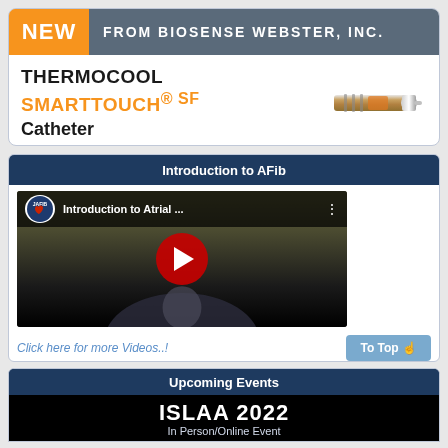[Figure (illustration): Biosense Webster advertisement banner for THERMOCOOL SMARTTOUCH SF Catheter. Orange 'NEW' box on left, gray bar reading 'FROM BIOSENSE WEBSTER, INC.' on right, product name below in bold, catheter device image on right.]
Introduction to AFib
[Figure (screenshot): YouTube video thumbnail showing JAFIB channel logo and title 'Introduction to Atrial ...' with a red play button overlay on a video of a person in dark clothing.]
Click here for more Videos..!
To Top
Upcoming Events
[Figure (illustration): Dark banner with white bold text reading 'ISLAA 2022' and subtitle 'In Person/Online Event']